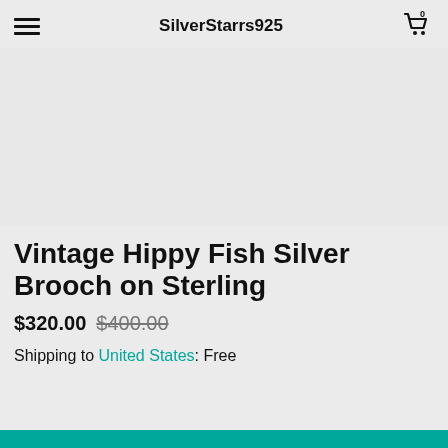SilverStarrs925
[Figure (photo): Product image area (appears blank/loading) for a vintage hippy fish silver brooch]
Vintage Hippy Fish Silver Brooch on Sterling
$320.00 $400.00
Shipping to United States: Free